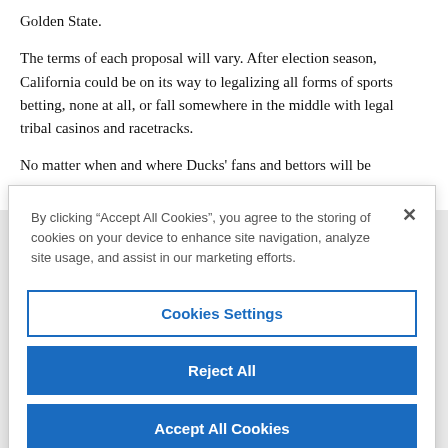Golden State.
The terms of each proposal will vary. After election season, California could be on its way to legalizing all forms of sports betting, none at all, or fall somewhere in the middle with legal tribal casinos and racetracks.
No matter when and where Ducks' fans and bettors will be
By clicking “Accept All Cookies”, you agree to the storing of cookies on your device to enhance site navigation, analyze site usage, and assist in our marketing efforts.
Cookies Settings
Reject All
Accept All Cookies